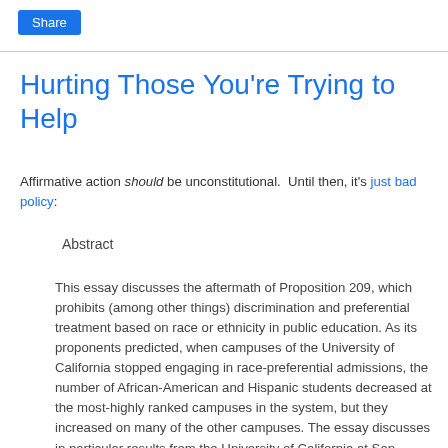Share
Hurting Those You're Trying to Help
Affirmative action should be unconstitutional. Until then, it's just bad policy:
Abstract
This essay discusses the aftermath of Proposition 209, which prohibits (among other things) discrimination and preferential treatment based on race or ethnicity in public education. As its proponents predicted, when campuses of the University of California stopped engaging in race-preferential admissions, the number of African-American and Hispanic students decreased at the most-highly ranked campuses in the system, but they increased on many of the other campuses. The essay discusses in particular results from the University of California at San